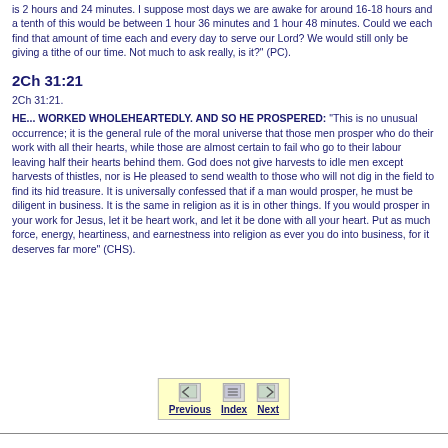is 2 hours and 24 minutes. I suppose most days we are awake for around 16-18 hours and a tenth of this would be between 1 hour 36 minutes and 1 hour 48 minutes. Could we each find that amount of time each and every day to serve our Lord? We would still only be giving a tithe of our time. Not much to ask really, is it?" (PC).
2Ch 31:21
2Ch 31:21.
HE... WORKED WHOLEHEARTEDLY. AND SO HE PROSPERED: "This is no unusual occurrence; it is the general rule of the moral universe that those men prosper who do their work with all their hearts, while those are almost certain to fail who go to their labour leaving half their hearts behind them. God does not give harvests to idle men except harvests of thistles, nor is He pleased to send wealth to those who will not dig in the field to find its hid treasure. It is universally confessed that if a man would prosper, he must be diligent in business. It is the same in religion as it is in other things. If you would prosper in your work for Jesus, let it be heart work, and let it be done with all your heart. Put as much force, energy, heartiness, and earnestness into religion as ever you do into business, for it deserves far more" (CHS).
[Figure (other): Navigation bar with Previous, Index, and Next buttons on a light yellow background]